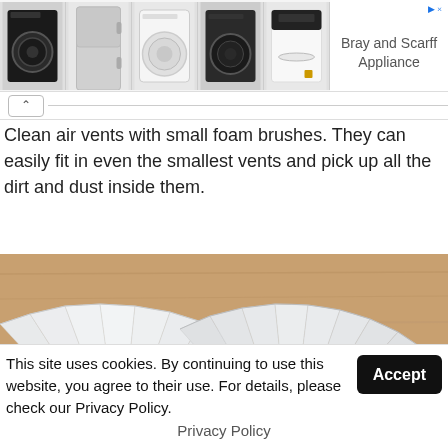[Figure (photo): Advertisement banner showing five home appliances (washing machines and refrigerator) with brand text 'Bray and Scarff Appliance' on the right side]
Clean air vents with small foam brushes. They can easily fit in even the smallest vents and pick up all the dirt and dust inside them.
[Figure (photo): Photo of white coffee filters fanned out on a wooden surface]
This site uses cookies. By continuing to use this website, you agree to their use. For details, please check our Privacy Policy.
Privacy Policy